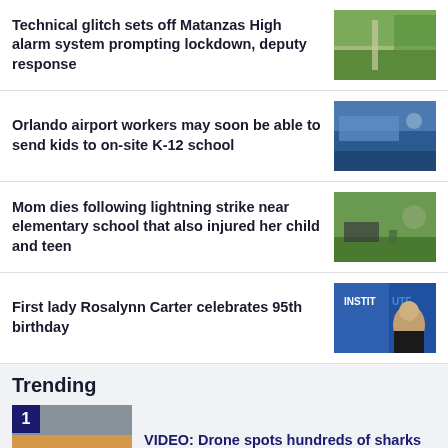Technical glitch sets off Matanzas High alarm system prompting lockdown, deputy response
Orlando airport workers may soon be able to send kids to on-site K-12 school
Mom dies following lightning strike near elementary school that also injured her child and teen
First lady Rosalynn Carter celebrates 95th birthday
Trending
VIDEO: Drone spots hundreds of sharks